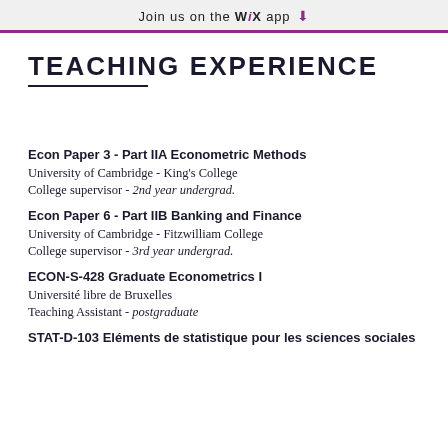Join us on the WiX app ⬇
TEACHING EXPERIENCE
Econ Paper 3 - Part IIA Econometric Methods
University of Cambridge - King's College
College supervisor - 2nd year undergrad.
Econ Paper 6 - Part IIB Banking and Finance
University of Cambridge - Fitzwilliam College
College supervisor - 3rd year undergrad.
ECON-S-428 Graduate Econometrics I
Université libre de Bruxelles
Teaching Assistant - postgraduate
STAT-D-103 Eléments de statistique pour les sciences sociales